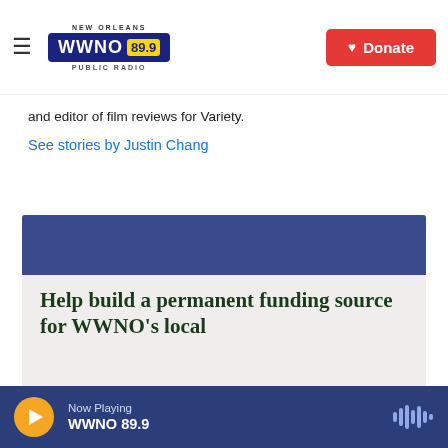NEW ORLEANS WWNO 89.9 PUBLIC RADIO | Donate
and editor of film reviews for Variety.
See stories by Justin Chang
[Figure (illustration): WWNO promotional banner with dark blue diagonal graphic on top and white/cream lower section with text reading: Help build a permanent funding source for WWNO's local]
Now Playing WWNO 89.9